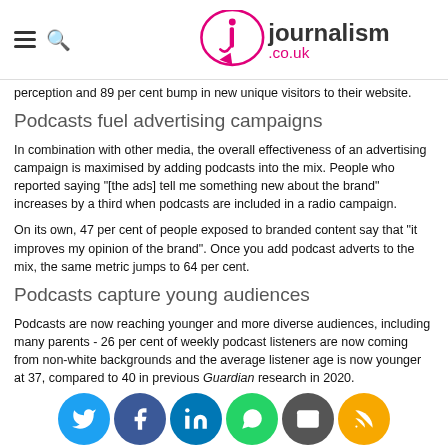journalism.co.uk
perception and 89 per cent bump in new unique visitors to their website.
Podcasts fuel advertising campaigns
In combination with other media, the overall effectiveness of an advertising campaign is maximised by adding podcasts into the mix. People who reported saying "[the ads] tell me something new about the brand" increases by a third when podcasts are included in a radio campaign.
On its own, 47 per cent of people exposed to branded content say that "it improves my opinion of the brand". Once you add podcast adverts to the mix, the same metric jumps to 64 per cent.
Podcasts capture young audiences
Podcasts are now reaching younger and more diverse audiences, including many parents - 26 per cent of weekly podcast listeners are now coming from non-white backgrounds and the average listener age is now younger at 37, compared to 40 in previous Guardian research in 2020.
Podcasts have shown the most growth of any media, helping them to become more str... 41 ce po lis are listening to podcasts more than they were 12 months ago, increasing to 53 per